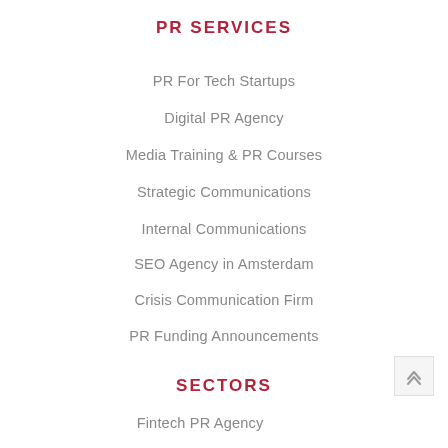PR SERVICES
PR For Tech Startups
Digital PR Agency
Media Training & PR Courses
Strategic Communications
Internal Communications
SEO Agency in Amsterdam
Crisis Communication Firm
PR Funding Announcements
SECTORS
Fintech PR Agency